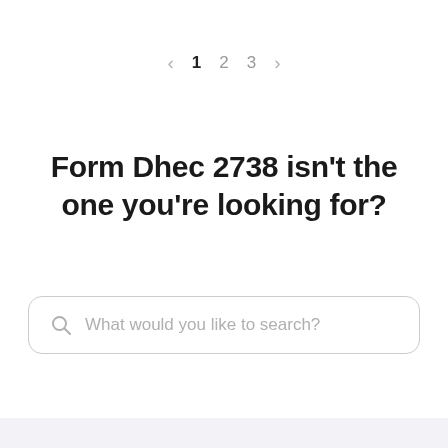< 1 2 3 >
Form Dhec 2738 isn't the one you're looking for?
[Figure (screenshot): Search input box with magnifying glass icon and placeholder text: What would you like to search?]